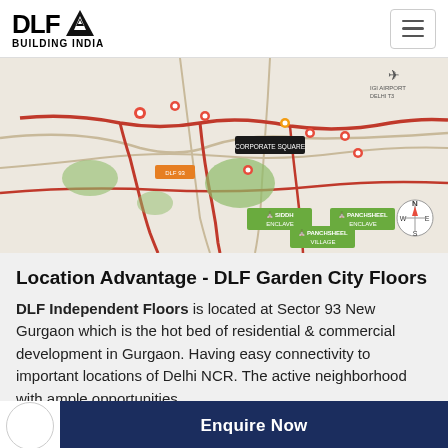DLF BUILDING INDIA
[Figure (map): Location map of DLF Garden City Floors, Sector 93 New Gurgaon, showing surrounding roads, landmarks, and property locations with colored markers and labels.]
Location Advantage - DLF Garden City Floors
DLF Independent Floors is located at Sector 93 New Gurgaon which is the hot bed of residential & commercial development in Gurgaon. Having easy connectivity to important locations of Delhi NCR. The active neighborhood with ample opportunities